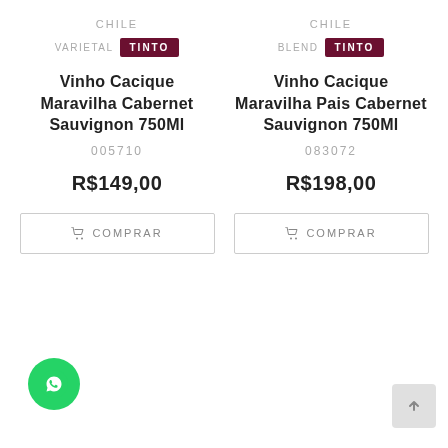CHILE
VARIETAL  TINTO
Vinho Cacique Maravilha Cabernet Sauvignon 750Ml
005710
R$149,00
COMPRAR
CHILE
BLEND  TINTO
Vinho Cacique Maravilha Pais Cabernet Sauvignon 750Ml
083072
R$198,00
COMPRAR